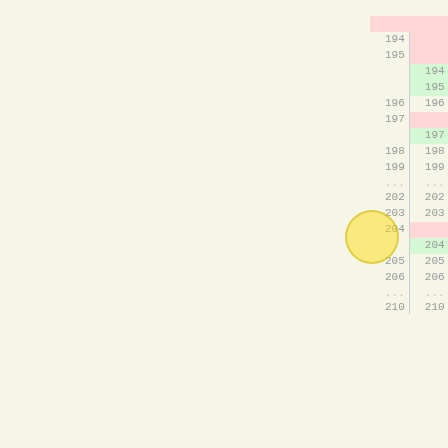[Figure (screenshot): Code diff view showing changes to bubble_up/bubbleUp and findUp methods in C++ code, with line numbers on left (old) and right (new), removed lines highlighted in red, added lines highlighted in green, with inline highlights marking specific identifier changes from 'data' to '_data' and 'boxes' to '_boxes'.]